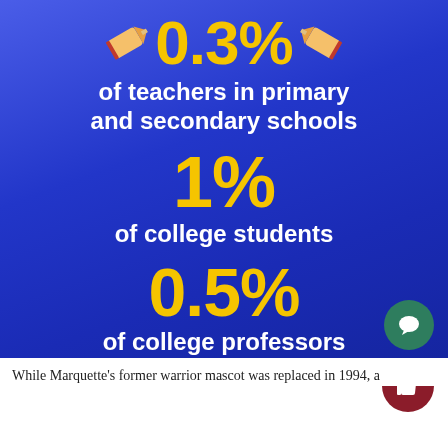[Figure (infographic): Blue gradient infographic showing percentages: 0.3% of teachers in primary and secondary schools, 1% of college students, 0.5% of college professors. Source: The Society for the Psychological Study of Social Issues.]
Source: The Society for the Psychological Study of Social Issues
While Marquette's former warrior mascot was replaced in 1994, a